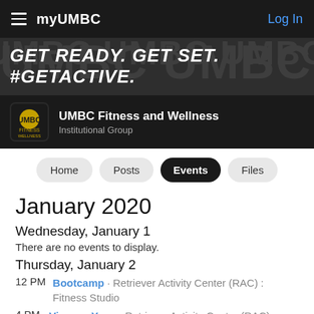myUMBC   Log In
[Figure (illustration): GET READY. GET SET. #GETACTIVE. hero banner with UMBC mascot watermark in background]
UMBC Fitness and Wellness
Institutional Group
Home
Posts
Events
Files
January 2020
Wednesday, January 1
There are no events to display.
Thursday, January 2
12 PM  Bootcamp · Retriever Activity Center (RAC) : Fitness Studio
4 PM  Vinyasa Yoga · Retriever Activity Center (RAC)